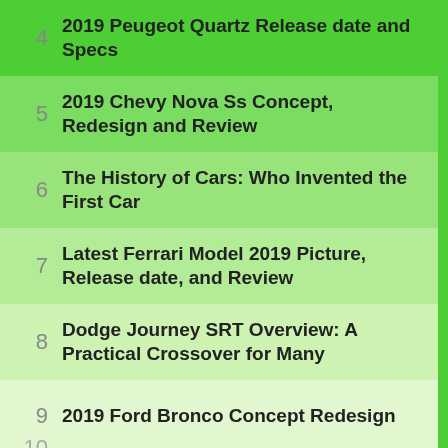4 2019 Peugeot Quartz Release date and Specs
5 2019 Chevy Nova Ss Concept, Redesign and Review
6 The History of Cars: Who Invented the First Car
7 Latest Ferrari Model 2019 Picture, Release date, and Review
8 Dodge Journey SRT Overview: A Practical Crossover for Many
9 2019 Ford Bronco Concept Redesign
10 Who Makes Infiniti Cars?